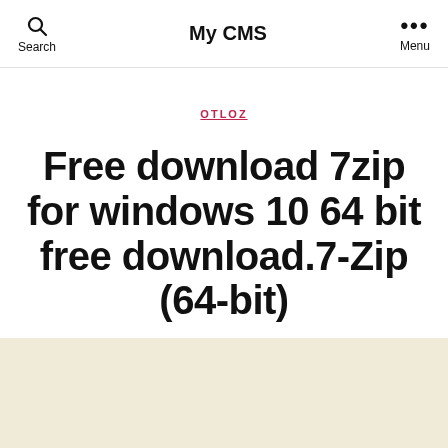My CMS
OTLOZ
Free download 7zip for windows 10 64 bit free download.7-Zip (64-bit)
By admin   June 21, 2022